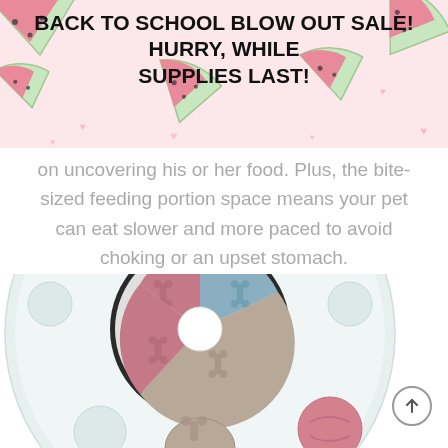[Figure (illustration): Decorative banner background with pink watermelon slices and small hearts on a light pink background]
BACK TO SCHOOL BLOW OUT SALE!  HURRY, WHILE SUPPLIES LAST!
on uncovering his or her food. Plus, the bite-sized feeding portion space means your pet can eat slower and more paced to avoid choking or an upset stomach.
[Figure (photo): A circular white pet puzzle feeder toy with a rotating disc in the center featuring pink, blue, and tan/beige colored sections with embossed bone designs. The outer tray has multiple circular depressions for food. A pink circular piece with a tennis ball design is visible at the bottom right.]